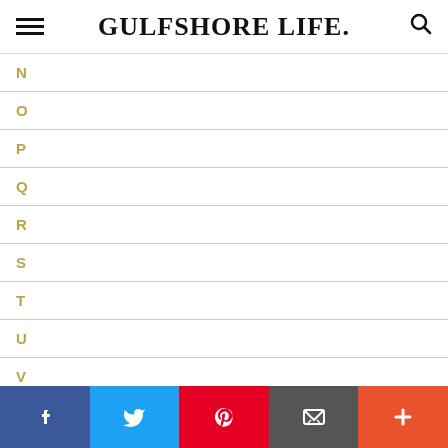GULFSHORE LIFE
N
O
P
Q
R
S
T
U
V
W
X